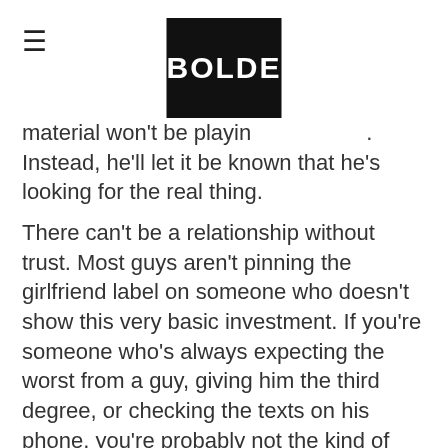BOLDE
material won't be playing. Instead, he'll let it be known that he's looking for the real thing.
There can't be a relationship without trust. Most guys aren't pinning the girlfriend label on someone who doesn't show this very basic investment. If you're someone who's always expecting the worst from a guy, giving him the third degree, or checking the texts on his phone, you're probably not the kind of girlfriend he wants.